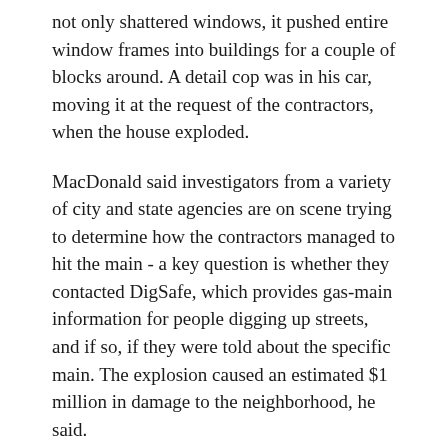not only shattered windows, it pushed entire window frames into buildings for a couple of blocks around. A detail cop was in his car, moving it at the request of the contractors, when the house exploded.
MacDonald said investigators from a variety of city and state agencies are on scene trying to determine how the contractors managed to hit the main - a key question is whether they contacted DigSafe, which provides gas-main information for people digging up streets, and if so, if they were told about the specific main. The explosion caused an estimated $1 million in damage to the neighborhood, he said.
Residents of some 30 nearby homes were evacuated. MacDonald said they are slowly being let back in as NStar - which provides gas in that area - checks each home.